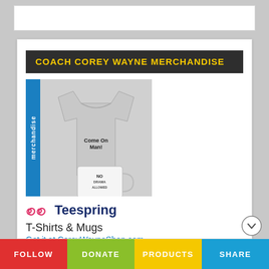COACH COREY WAYNE MERCHANDISE
[Figure (photo): Merchandise photo showing a grey t-shirt with 'Come On Man!' text and a white mug with 'NO DRAMA ALLOWED' text, displayed against a light background with a blue 'merchandise' tab on the left side.]
[Figure (logo): Teespring logo with pink/red swirl icon and dark blue 'Teespring' text]
T-Shirts & Mugs
Get it at CoreyWayneShop.com
BUY NOW
FOLLOW  DONATE  PRODUCTS  SHARE